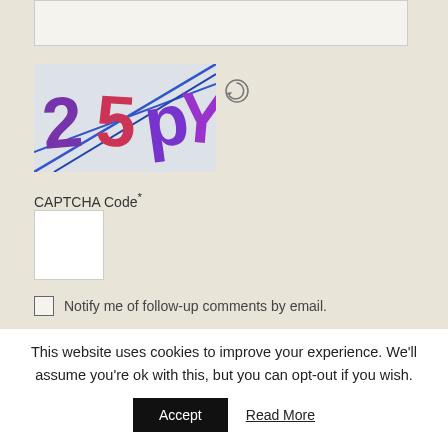[Figure (other): CAPTCHA image showing characters '25pY' with hand-drawn style purple and red letters on a light background with blue diagonal lines crossing through]
CAPTCHA Code*
Notify me of follow-up comments by email.
Notify me of new posts by email.
POST COMMENT
This website uses cookies to improve your experience. We'll assume you're ok with this, but you can opt-out if you wish.
Accept
Read More